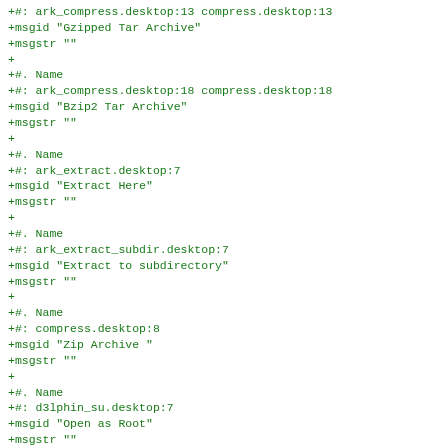+#: ark_compress.desktop:13 compress.desktop:13
+msgid "Gzipped Tar Archive"
+msgstr ""
+
+#. Name
+#: ark_compress.desktop:18 compress.desktop:18
+msgid "Bzip2 Tar Archive"
+msgstr ""
+
+#. Name
+#: ark_extract.desktop:7
+msgid "Extract Here"
+msgstr ""
+
+#. Name
+#: ark_extract_subdir.desktop:7
+msgid "Extract to subdirectory"
+msgstr ""
+
+#. Name
+#: compress.desktop:8
+msgid "Zip Archive "
+msgstr ""
+
+#. Name
+#: d3lphin_su.desktop:7
+msgid "Open as Root"
+msgstr ""
+
+#. Name
+#: edit_as_root.desktop:6